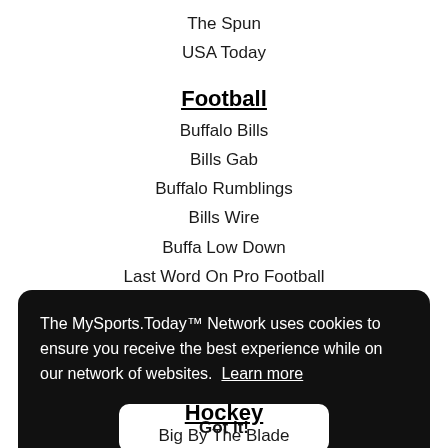The Spun
USA Today
Football
Buffalo Bills
Bills Gab
Buffalo Rumblings
Bills Wire
Buffa Low Down
Last Word On Pro Football
The MySports.Today™ Network uses cookies to ensure you receive the best experience while on our network of websites. Learn more
Got it!
Hockey
Big By The Blade